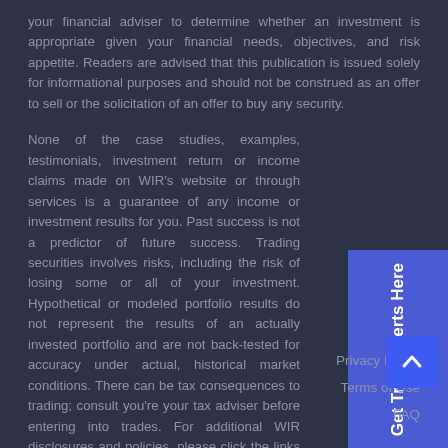your financial adviser to determine whether an investment is appropriate given your financial needs, objectives, and risk appetite. Readers are advised that this publication is issued solely for informational purposes and should not be construed as an offer to sell or the solicitation of an offer to buy any security.
None of the case studies, examples, testimonials, investment return or income claims made on WIR's website or through services is a guarantee of any income or investment results for you. Past success is not a predictor of future success. Trading securities involves risks, including the risk of losing some or all of your investment. Hypothetical or modeled portfolio results do not represent the results of an actually invested portfolio and are not back-tested for accuracy under actual, historical market conditions. There can be tax consequences to trading; consult you're your tax adviser before entering into trades. For additional WIR disclosures and policies, please click the links below.
[Figure (other): Blue sidebar button with rotated text 'Get Trade Alerts Here']
Privacy Policy
Terms of Use
FAQ
[Figure (other): Blue scroll-to-top button with upward arrow chevron]